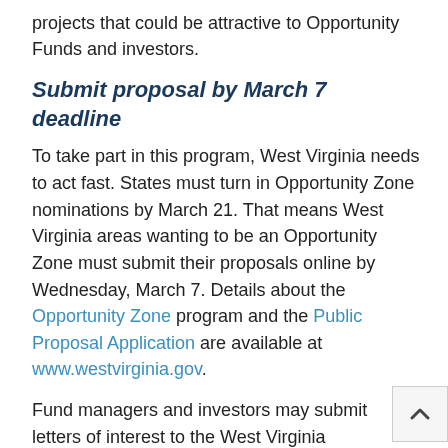projects that could be attractive to Opportunity Funds and investors.
Submit proposal by March 7 deadline
To take part in this program, West Virginia needs to act fast. States must turn in Opportunity Zone nominations by March 21. That means West Virginia areas wanting to be an Opportunity Zone must submit their proposals online by Wednesday, March 7. Details about the Opportunity Zone program and the Public Proposal Application are available at www.westvirginia.gov.
Fund managers and investors may submit letters of interest to the West Virginia Department of Commerce. Contact information and sample letters are available on the Opportunity Zone page of the www.westvirginia.com website.